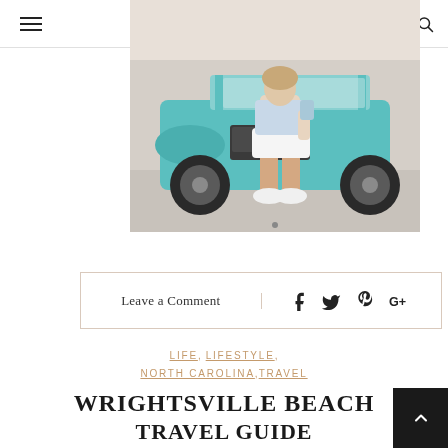Navigation bar with hamburger menu, Instagram, LinkedIn, email, and search icons
[Figure (photo): Person sitting on a teal/turquoise golf cart outdoors, wearing white outfit and white sneakers]
Leave a Comment
Social share icons: Facebook, Twitter, Pinterest, Google+
LIFE, LIFESTYLE, NORTH CAROLINA, TRAVEL
WRIGHTSVILLE BEACH TRAVEL GUIDE